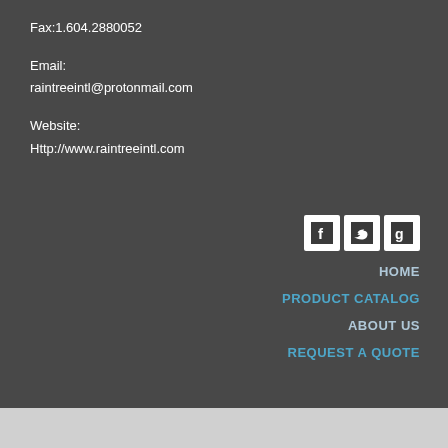Fax:1.604.2880052
Email:
raintreeintl@protonmail.com
Website:
Http://www.raintreeintl.com
[Figure (logo): Social media icons: Facebook (f), Twitter (bird), Google+ (g)]
HOME
PRODUCT CATALOG
ABOUT US
REQUEST A QUOTE